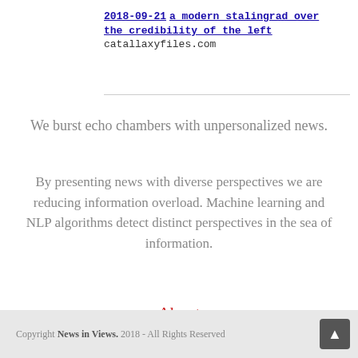2018-09-21 a modern stalingrad over the credibility of the left
catallaxyfiles.com
We burst echo chambers with unpersonalized news.
By presenting news with diverse perspectives we are reducing information overload. Machine learning and NLP algorithms detect distinct perspectives in the sea of information.
About
Copyright News in Views. 2018 - All Rights Reserved